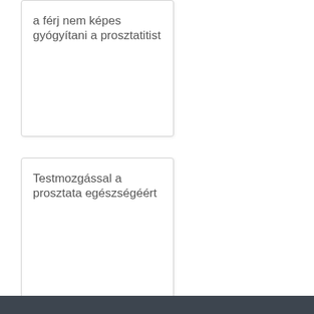a férj nem képes gyógyítani a prosztatitist
Testmozgással a prosztata egészségéért